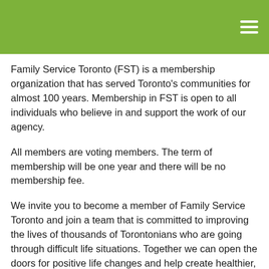Family Service Toronto (FST) is a membership organization that has served Toronto's communities for almost 100 years. Membership in FST is open to all individuals who believe in and support the work of our agency.
All members are voting members. The term of membership will be one year and there will be no membership fee.
We invite you to become a member of Family Service Toronto and join a team that is committed to improving the lives of thousands of Torontonians who are going through difficult life situations. Together we can open the doors for positive life changes and help create healthier, more prosperous, inclusive communities and families in Toronto.
We will keep you informed about how we make a difference in the lives of our fellow citizens by sending you a link to our Annual Report and invitations to FST events if